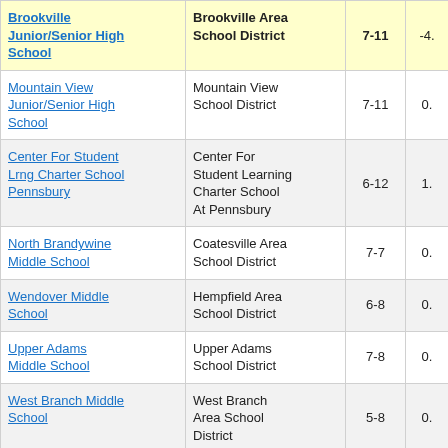| School | District | Grades | Value |
| --- | --- | --- | --- |
| Brookville Junior/Senior High School | Brookville Area School District | 7-11 | -4. |
| Mountain View Junior/Senior High School | Mountain View School District | 7-11 | 0. |
| Center For Student Lrng Charter School Pennsbury | Center For Student Learning Charter School At Pennsbury | 6-12 | 1. |
| North Brandywine Middle School | Coatesville Area School District | 7-7 | 0. |
| Wendover Middle School | Hempfield Area School District | 6-8 | 0. |
| Upper Adams Middle School | Upper Adams School District | 7-8 | 0. |
| West Branch Middle School | West Branch Area School District | 5-8 | 0. |